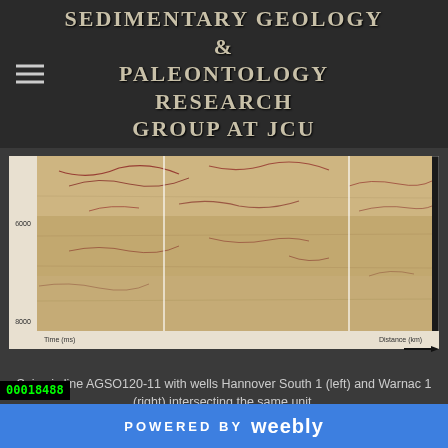SEDIMENTARY GEOLOGY & PALEONTOLOGY RESEARCH GROUP AT JCU
[Figure (other): Seismic line AGSO120-11 showing a sandy/layered geological cross-section with red/brown markings on a beige background. Two vertical white lines indicate well locations (Hannover South 1 on left and Warnac 1 on right). Axes show Time (ms) on the vertical (values around 6000-8000) and Distance (km) on the horizontal. Arrow pointing right at bottom right.]
Seismic line AGSO120-11 with wells Hannover South 1 (left) and Warnac 1 (right) intersecting the same unit.
POWERED BY weebly